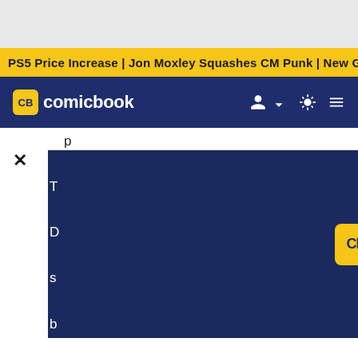PS5 Price Increase | Jon Moxley Squashes CM Punk | New G
CB comicbook
[Figure (screenshot): ComicBook.com video player overlay with dark navy background showing the ComicBook logo (CB badge in yellow and 'comicbook' in white text) with a semi-transparent circular play button in the center]
everyone – consumers, advertisers, and our storytellers."
However, one has to question if raising the price for the version of Disney+ with ads is this really offering a